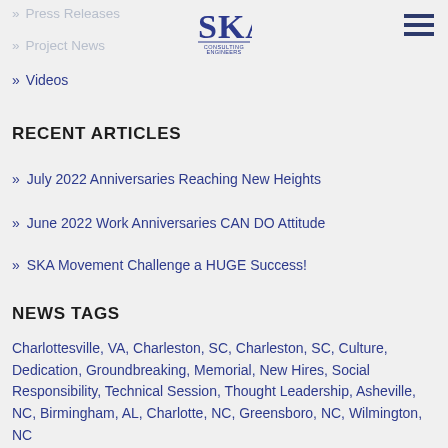SKA Consulting Engineers logo and navigation menu
Press Releases
Project News
Videos
RECENT ARTICLES
July 2022 Anniversaries Reaching New Heights
June 2022 Work Anniversaries CAN DO Attitude
SKA Movement Challenge a HUGE Success!
NEWS TAGS
Charlottesville, VA, Charleston, SC, Charleston, SC, Culture, Dedication, Groundbreaking, Memorial, New Hires, Social Responsibility, Technical Session, Thought Leadership, Asheville, NC, Birmingham, AL, Charlotte, NC, Greensboro, NC, Wilmington, NC